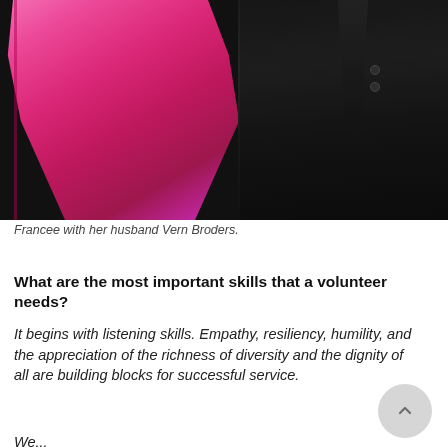[Figure (photo): Photo of Francee in a bright pink/magenta dress standing next to her husband Vern Broders who is wearing a dark suit. The image is cropped showing their torsos.]
Francee with her husband Vern Broders.
What are the most important skills that a volunteer needs?
It begins with listening skills. Empathy, resiliency, humility, and the appreciation of the richness of diversity and the dignity of all are building blocks for successful service.
We...